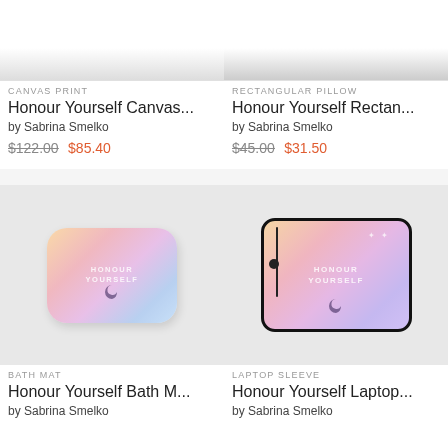[Figure (photo): Top portion of canvas print product image on light background]
CANVAS PRINT
Honour Yourself Canvas...
by Sabrina Smelko
$122.00  $85.40
[Figure (photo): Top portion of rectangular pillow product image on light background]
RECTANGULAR PILLOW
Honour Yourself Rectan...
by Sabrina Smelko
$45.00  $31.50
[Figure (photo): Bath mat with pastel gradient honour yourself design on grey background]
BATH MAT
Honour Yourself Bath M...
by Sabrina Smelko
[Figure (photo): Laptop sleeve with pastel gradient honour yourself design on grey background]
LAPTOP SLEEVE
Honour Yourself Laptop...
by Sabrina Smelko